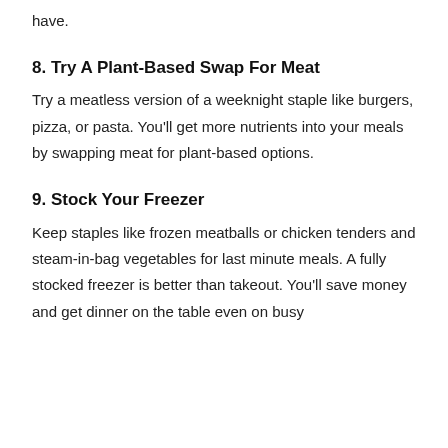have.
8. Try A Plant-Based Swap For Meat
Try a meatless version of a weeknight staple like burgers, pizza, or pasta. You'll get more nutrients into your meals by swapping meat for plant-based options.
9. Stock Your Freezer
Keep staples like frozen meatballs or chicken tenders and steam-in-bag vegetables for last minute meals. A fully stocked freezer is better than takeout. You'll save money and get dinner on the table even on busy